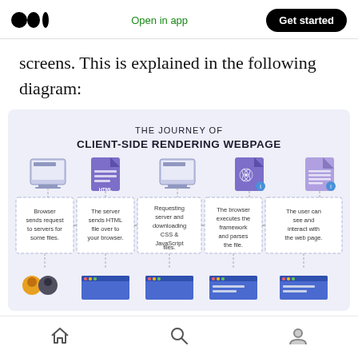Open in app | Get started
screens. This is explained in the following diagram:
[Figure (infographic): Infographic titled 'THE JOURNEY OF CLIENT-SIDE RENDERING WEBPAGE' showing 5 steps with icons: 1) Browser sends request to servers for some files. 2) The server sends HTML file over to your browser. 3) Requesting server and downloading CSS & JavaScript files. 4) The browser executes the framework and parses the file. 5) The user can see and interact with the web page. Below are partial browser window screenshots.]
Home | Search | Profile